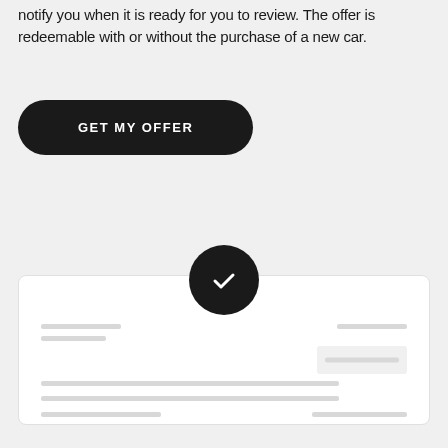notify you when it is ready for you to review. The offer is redeemable with or without the purchase of a new car.
[Figure (illustration): A black rounded rectangle button labeled 'GET MY OFFER' in white uppercase letters.]
[Figure (illustration): A UI card illustration with a dark circular checkmark badge centered at the top. The card contains placeholder gray lines representing form fields and content. There is a small box on the right side with a gray line inside, and multiple horizontal lines representing text fields.]